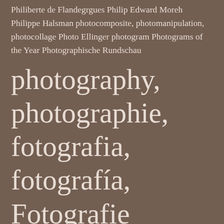Philiberte de Flandegrgues  Philip Edward Moreh  Philippe Halsman  photocomposite, photomanipulation, photocollage  Photo Ellinger  photogram  Photograms of the Year  Photographische Rundschau
photography, photographie, fotografia, fotografía, Fotografie
photogravure, gravure, heliogravure  Photoplay magazine  photosecessionism, photosecession  pictorialism, pictorialisme, pictorialismo, Piktorialismus  Pierre-Gérard Carrier-Belleuse  Pierre Apers, Apers, P. Apers  Pierre Auradon  Pierre Boucher  Pierre Dubreuil  Pierre Jahan  Pieter Kuhn  Poldo Cebrián, Poldo Cebrian  portrait,